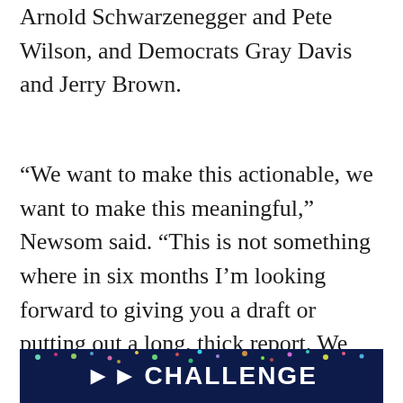Arnold Schwarzenegger and Pete Wilson, and Democrats Gray Davis and Jerry Brown.
“We want to make this actionable, we want to make this meaningful,” Newsom said. “This is not something where in six months I’m looking forward to giving you a draft or putting out a long, thick report. We want in real time to demonstrate meaningful reforms, meaningful changes.”
[Figure (photo): Dark navy blue banner/advertisement image with colorful confetti/fireworks effect at top, showing the text '>> CHALLENGE' in bold white letters and colorful text below it]